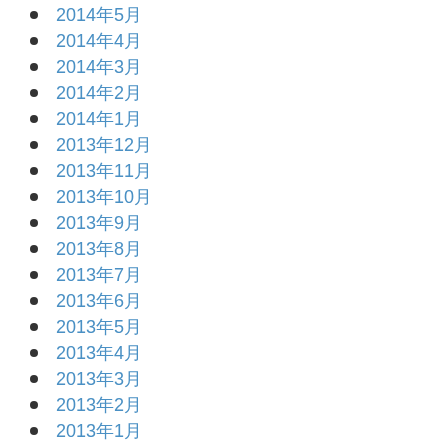2014年5月
2014年4月
2014年3月
2014年2月
2014年1月
2013年12月
2013年11月
2013年10月
2013年9月
2013年8月
2013年7月
2013年6月
2013年5月
2013年4月
2013年3月
2013年2月
2013年1月